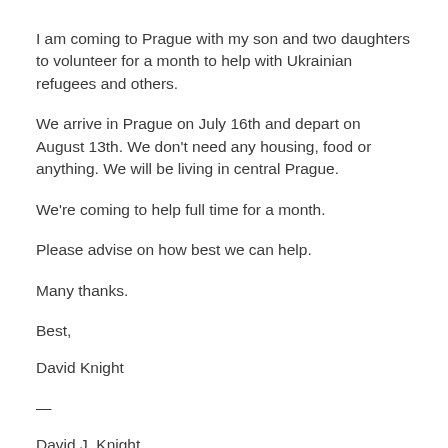I am coming to Prague with my son and two daughters to volunteer for a month to help with Ukrainian refugees and others.
We arrive in Prague on July 16th and depart on August 13th. We don't need any housing, food or anything. We will be living in central Prague.
We're coming to help full time for a month.
Please advise on how best we can help.
Many thanks.
Best,
David Knight
—
David J. Knight